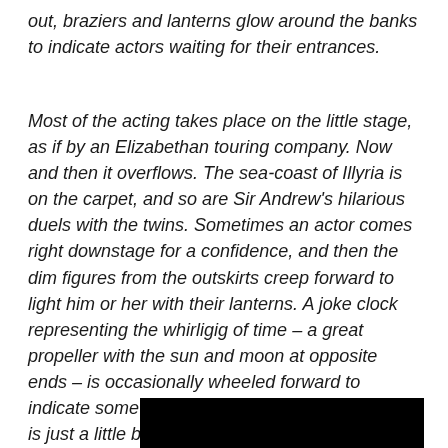out, braziers and lanterns glow around the banks to indicate actors waiting for their entrances.
Most of the acting takes place on the little stage, as if by an Elizabethan touring company. Now and then it overflows. The sea-coast of Illyria is on the carpet, and so are Sir Andrew's hilarious duels with the twins. Sometimes an actor comes right downstage for a confidence, and then the dim figures from the outskirts creep forward to light him or her with their lanterns. A joke clock representing the whirligig of time – a great propeller with the sun and moon at opposite ends – is occasionally wheeled forward to indicate some specific hour. Malvolio's dark room is just a little box-like cage with just enough room for him to lie down. It is all enchantingly picturesque.
[Figure (photo): Dark/black image at the bottom of the page, partially visible]